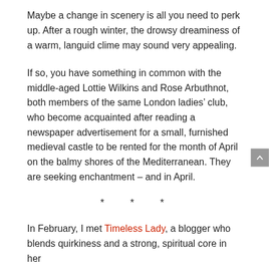Maybe a change in scenery is all you need to perk up. After a rough winter, the drowsy dreaminess of a warm, languid clime may sound very appealing.
If so, you have something in common with the middle-aged Lottie Wilkins and Rose Arbuthnot, both members of the same London ladies’ club, who become acquainted after reading a newspaper advertisement for a small, furnished medieval castle to be rented for the month of April on the balmy shores of the Mediterranean. They are seeking enchantment – and in April.
* * *
In February, I met Timeless Lady, a blogger who blends quirkiness and a strong, spiritual core in her